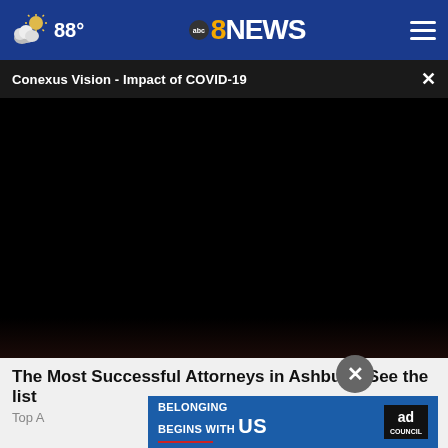[Figure (screenshot): ABC8NEWS website header with weather (88°), ABC8NEWS logo, and hamburger menu on a dark blue background]
Conexus Vision - Impact of COVID-19
[Figure (screenshot): Black video player area with dark image hint at bottom]
The Most Successful Attorneys in Ashburn. See the list
Top A
[Figure (screenshot): Ad Council banner: BELONGING BEGINS WITH US]